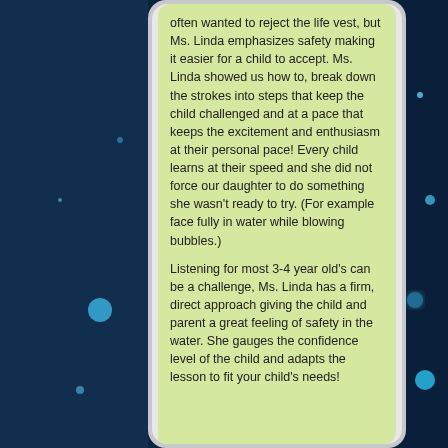often wanted to reject the life vest, but Ms. Linda emphasizes safety making it easier for a child to accept. Ms. Linda showed us how to, break down the strokes into steps that keep the child challenged and at a pace that keeps the excitement and enthusiasm at their personal pace! Every child learns at their speed and she did not force our daughter to do something she wasn't ready to try. (For example face fully in water while blowing bubbles.)

Listening for most 3-4 year old's can be a challenge, Ms. Linda has a firm, direct approach giving the child and parent a great feeling of safety in the water. She gauges the confidence level of the child and adapts the lesson to fit your child's needs!